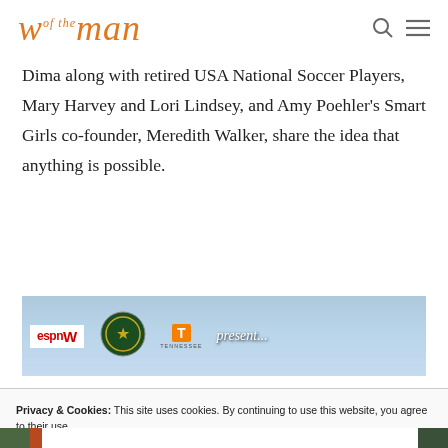woman
Dima along with retired USA National Soccer Players, Mary Harvey and Lori Lindsey, and Amy Poehler’s Smart Girls co-founder, Meredith Walker, share the idea that anything is possible.
[Figure (photo): Partial banner image showing ESPN W logo, US Department of State seal, University of Tennessee logo, and text reading 'present...' against a sky background]
Privacy & Cookies: This site uses cookies. By continuing to use this website, you agree to their use.
To find out more, including how to control cookies, see here: Cookie Policy
Close and accept